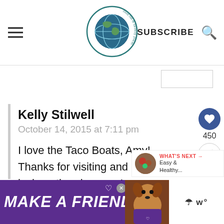food fun & faraway places | SUBSCRIBE
Kelly Stilwell
October 14, 2015 at 7:11 pm

I love the Taco Boats, Amy! Thanks for visiting and good luck on the giveaway!
[Figure (infographic): Advertisement banner: purple background with text MAKE A FRIEND, dog photo, and weather widget on right]
450
WHAT'S NEXT → Easy & Healthy...